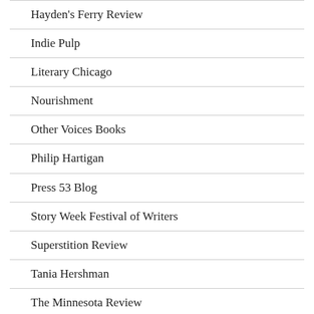Hayden's Ferry Review
Indie Pulp
Literary Chicago
Nourishment
Other Voices Books
Philip Hartigan
Press 53 Blog
Story Week Festival of Writers
Superstition Review
Tania Hershman
The Minnesota Review